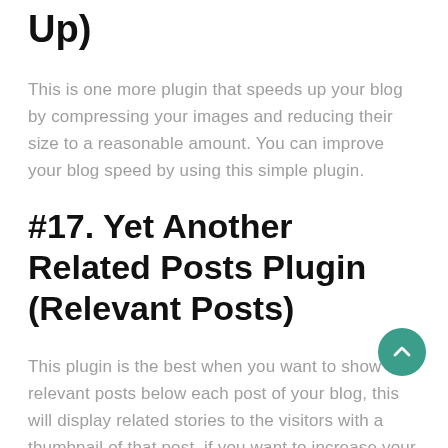Up)
This is one more plugin that speeds up your blog by compressing your images and reducing their size to a reasonable amount. You can improve your blog speed by using this simple plugin.
#17. Yet Another Related Posts Plugin (Relevant Posts)
This plugin is the best when you want to show the relevant posts below each post of your blog, this will display related stories to the visitors with a thumbnail of that post, if you want to increase your Page views then this plugin is the best solution for you.
#18. BackUpWordPress